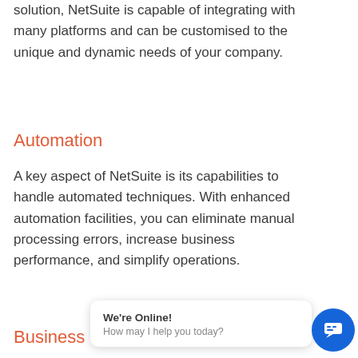solution, NetSuite is capable of integrating with many platforms and can be customised to the unique and dynamic needs of your company.
Automation
A key aspect of NetSuite is its capabilities to handle automated techniques. With enhanced automation facilities, you can eliminate manual processing errors, increase business performance, and simplify operations.
Business Intelligence